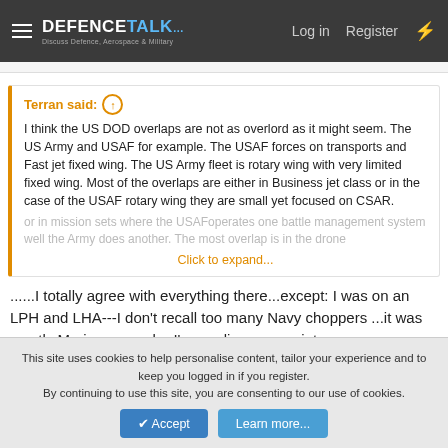DEFENCETALK — Log in | Register
Terran said: ↑
I think the US DOD overlaps are not as overlord as it might seem. The US Army and USAF for example. The USAF forces on transports and Fast jet fixed wing. The US Army fleet is rotary wing with very limited fixed wing. Most of the overlaps are either in Business jet class or in the case of the USAF rotary wing they are small yet focused on CSAR.
or in mission sets where the USAFoperates one battle management system well the Army does another. The most overlap is in the drone
Click to expand...
......I totally agree with everything there...except: I was on an LPH and LHA---I don't recall too many Navy choppers ...it was mostly Marine.....maybe I'm reading your point wrong....
This site uses cookies to help personalise content, tailor your experience and to keep you logged in if you register.
By continuing to use this site, you are consenting to our use of cookies.